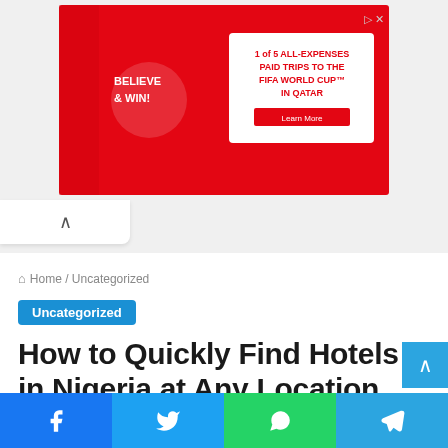[Figure (photo): Coca-Cola FIFA World Cup advertisement banner — red background with people celebrating and text 'BELIEVE & WIN! 1 of 5 ALL-EXPENSES PAID TRIPS TO THE FIFA WORLD CUP IN QATAR']
Home / Uncategorized
Uncategorized
How to Quickly Find Hotels in Nigeria at Any Location
Are you looking for hotels in Nigeria to lodge? If yes, This article will show